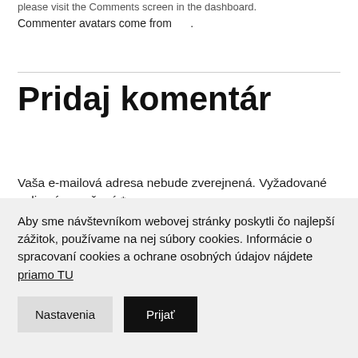please visit the Comments screen in the dashboard.
Commenter avatars come from .
Pridaj komentár
Vaša e-mailová adresa nebude zverejnená. Vyžadované polia sú označené *
Komentár *
Aby sme návštevníkom webovej stránky poskytli čo najlepší zážitok, používame na nej súbory cookies. Informácie o spracovaní cookies a ochrane osobných údajov nájdete priamo TU
Nastavenia
Prijať